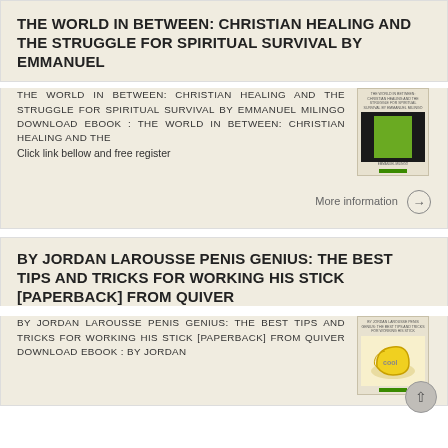THE WORLD IN BETWEEN: CHRISTIAN HEALING AND THE STRUGGLE FOR SPIRITUAL SURVIVAL BY EMMANUEL
THE WORLD IN BETWEEN: CHRISTIAN HEALING AND THE STRUGGLE FOR SPIRITUAL SURVIVAL BY EMMANUEL MILINGO DOWNLOAD EBOOK : THE WORLD IN BETWEEN: CHRISTIAN HEALING AND THE Click link bellow and free register
More information →
BY JORDAN LAROUSSE PENIS GENIUS: THE BEST TIPS AND TRICKS FOR WORKING HIS STICK [PAPERBACK] FROM QUIVER
BY JORDAN LAROUSSE PENIS GENIUS: THE BEST TIPS AND TRICKS FOR WORKING HIS STICK [PAPERBACK] FROM QUIVER DOWNLOAD EBOOK : BY JORDAN